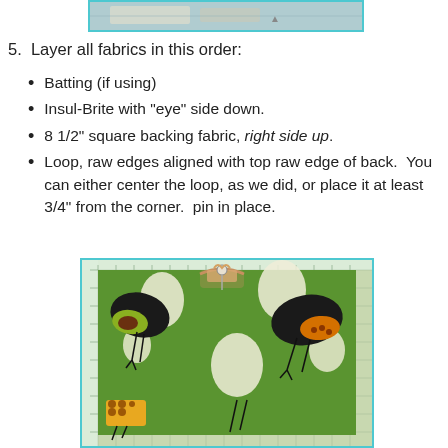[Figure (photo): Top portion of a cropped photo showing a fabric/sewing project on a cutting mat, with teal border]
5.  Layer all fabrics in this order:
Batting (if using)
Insul-Brite with "eye" side down.
8 1/2" square backing fabric, right side up.
Loop, raw edges aligned with top raw edge of back.  You can either center the loop, as we did, or place it at least 3/4" from the corner.  pin in place.
[Figure (photo): Photo of green bird-patterned fabric square laid on a cutting mat, with a decorative loop pinned at the top center edge. The fabric shows stylized birds with white eggs on a green background. An orange and yellow small bird figure is visible at the bottom. The photo has a teal border.]